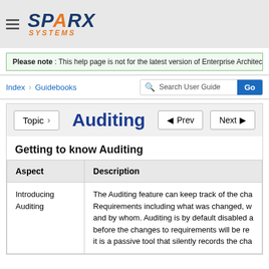[Figure (logo): Sparx Systems logo with hamburger menu icon]
Please note : This help page is not for the latest version of Enterprise Architect. The latest help can be
Index   Guidebooks   Search User Guide   Go
Auditing
Getting to know Auditing
| Aspect | Description |
| --- | --- |
| Introducing Auditing | The Auditing feature can keep track of the cha... Requirements including what was changed, w... and by whom. Auditing is by default disabled a... before the changes to requirements will be re... it is a passive tool that silently records the cha... |